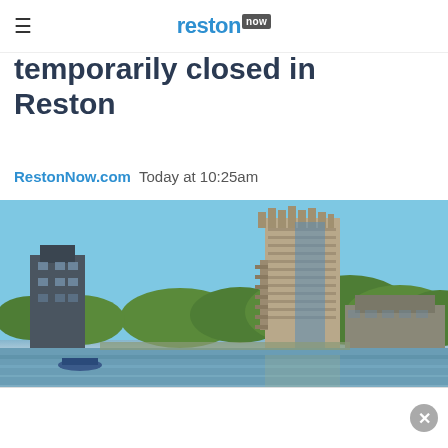reston now
temporarily closed in Reston
RestonNow.com  Today at 10:25am
[Figure (photo): A canal or lake waterway with a tall modernist tower block building in the background on a clear blue sky day, with trees and lower buildings along the water's edge.]
[Figure (photo): Bottom portion of the waterway scene, partially obscured by a white advertisement overlay with a close/X button.]